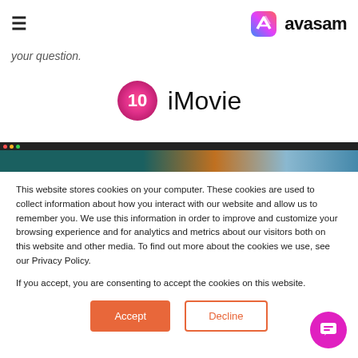avasam
your question.
[Figure (logo): iMovie logo — circular gradient pink/orange badge with number 10, next to text 'iMovie']
[Figure (screenshot): Screenshot strip of a website with dark teal navigation bar and colorful background image]
This website stores cookies on your computer. These cookies are used to collect information about how you interact with our website and allow us to remember you. We use this information in order to improve and customize your browsing experience and for analytics and metrics about our visitors both on this website and other media. To find out more about the cookies we use, see our Privacy Policy.
If you accept, you are consenting to accept the cookies on this website.
[Figure (other): Accept button (orange fill) and Decline button (orange outline)]